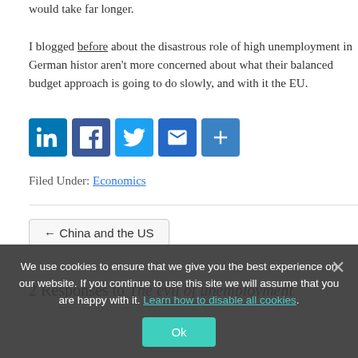would take far longer.

I blogged before about the disastrous role of high unemployment in German history... aren't more concerned about what their balanced budget approach is going to do slowly, and with it the EU.
[Figure (other): Social sharing icons: LinkedIn, Facebook, Twitter, Email, Share]
Filed Under: Economics
← China and the US
2 Responses to The evil of unemployment
We use cookies to ensure that we give you the best experience on our website. If you continue to use this site we will assume that you are happy with it. Learn how to disable all cookies.
Ok